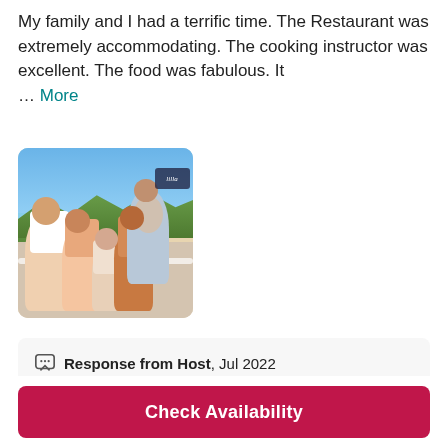My family and I had a terrific time. The Restaurant was extremely accommodating. The cooking instructor was excellent. The food was fabulous. It … More
[Figure (photo): A group photo of a family of five people posing outdoors, appears to be at a restaurant with greenery and hills in the background.]
Response from Host, Jul 2022
Thank you for the awesome feedback, dear Jenia! We couldn't be happier you enjoyed your experience so much! Have an amazing...
Check Availability